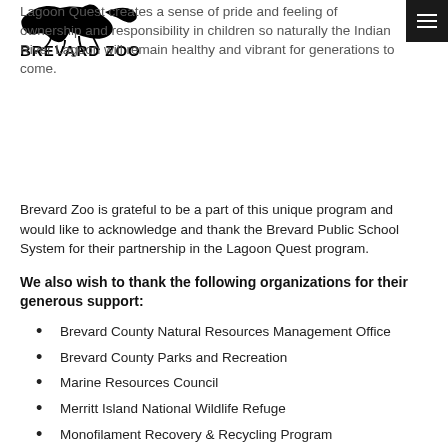Brevard Zoo
Lagoon Quest creates a sense of pride and feeling of ownership and responsibility in children so naturally the Indian River Lagoon will remain healthy and vibrant for generations to come.
Brevard Zoo is grateful to be a part of this unique program and would like to acknowledge and thank the Brevard Public School System for their partnership in the Lagoon Quest program.
We also wish to thank the following organizations for their generous support:
Brevard County Natural Resources Management Office
Brevard County Parks and Recreation
Marine Resources Council
Merritt Island National Wildlife Refuge
Monofilament Recovery & Recycling Program